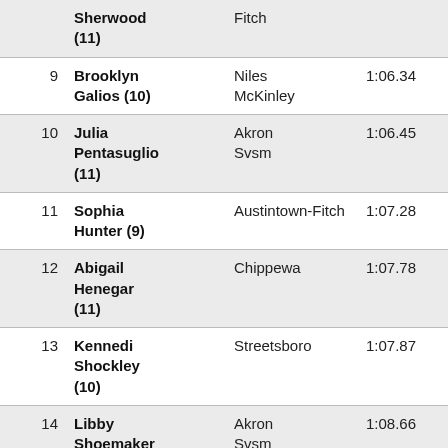| Place | Name | School | Time | Points |
| --- | --- | --- | --- | --- |
|  | Sherwood (11) | Fitch |  |  |
| 9 | Brooklyn Galios (10) | Niles McKinley | 1:06.34 | 3 |
| 10 | Julia Pentasuglio (11) | Akron Svsm | 1:06.45 | 4 |
| 11 | Sophia Hunter (9) | Austintown-Fitch | 1:07.28 | 3 |
| 12 | Abigail Henegar (11) | Chippewa | 1:07.78 | 3 |
| 13 | Kennedi Shockley (10) | Streetsboro | 1:07.87 | 2 |
| 14 | Libby Shoemaker | Akron Svsm | 1:08.66 | 3 |